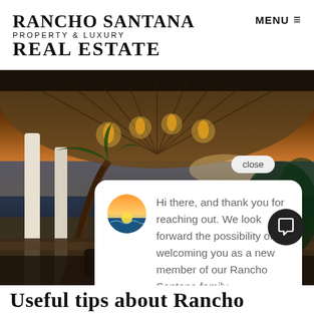RANCHO SANTANA
PROPERTY & LUXURY
REAL ESTATE
MENU ≡
[Figure (photo): Tropical luxury pavilion with thatched roof, hanging lanterns, palm trees, ocean sunset view, and a person seated on outdoor furniture. A chat popup overlay reads: Hi there, and thank you for reaching out. We look forward the possibility of welcoming you as a new member of our Rancho Santana family.]
Useful tips about Rancho